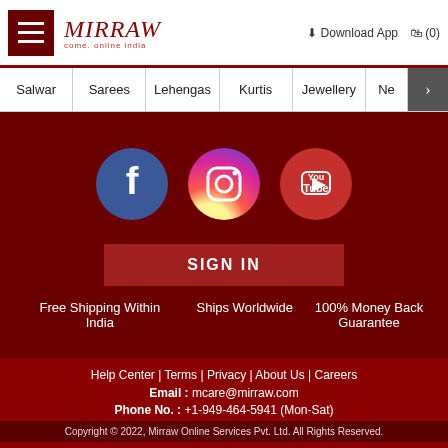[Figure (logo): Mirraw logo with hamburger menu, download app link and cart icon (0)]
Salwar | Sarees | Lehengas | Kurtis | Jewellery | Ne >
[Figure (infographic): Dark red background section with Facebook, Instagram, YouTube social icons and SIGN IN button]
Free Shipping Within India
Ships Worldwide
100% Money Back Guarantee
Help Center | Terms | Privacy | About Us | Careers
Email : mcare@mirraw.com
Phone No. : +1-949-464-5941 (Mon-Sat)
Copyright © 2022, Mirraw Online Services Pvt. Ltd. All Rights Reserved.